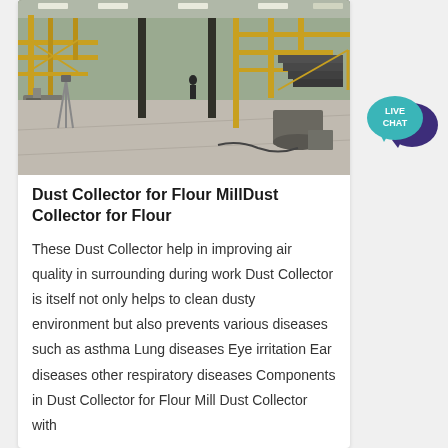[Figure (photo): Interior of a large industrial flour mill facility with yellow metal scaffolding, staircases, conveyor systems, and concrete floor. Machinery and equipment visible throughout the space.]
Dust Collector for Flour MillDust Collector for Flour
These Dust Collector help in improving air quality in surrounding during work Dust Collector is itself not only helps to clean dusty environment but also prevents various diseases such as asthma Lung diseases Eye irritation Ear diseases other respiratory diseases Components in Dust Collector for Flour Mill Dust Collector with